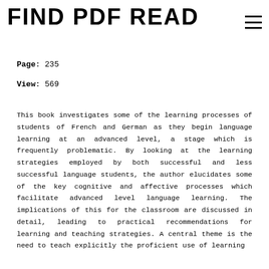FIND PDF READ
Page: 235
View: 569
This book investigates some of the learning processes of students of French and German as they begin language learning at an advanced level, a stage which is frequently problematic. By looking at the learning strategies employed by both successful and less successful language students, the author elucidates some of the key cognitive and affective processes which facilitate advanced level language learning. The implications of this for the classroom are discussed in detail, leading to practical recommendations for learning and teaching strategies. A central theme is the need to teach explicitly the proficient use of learning